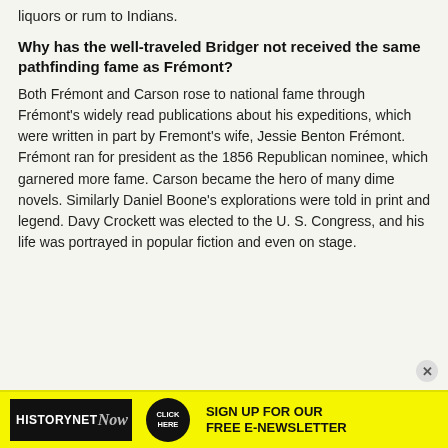liquors or rum to Indians.
Why has the well-traveled Bridger not received the same pathfinding fame as Frémont?
Both Frémont and Carson rose to national fame through Frémont's widely read publications about his expeditions, which were written in part by Fremont's wife, Jessie Benton Frémont. Frémont ran for president as the 1856 Republican nominee, which garnered more fame. Carson became the hero of many dime novels. Similarly Daniel Boone's explorations were told in print and legend. Davy Crockett was elected to the U. S. Congress, and his life was portrayed in popular fiction and even on stage.
[Figure (infographic): HistoryNet Now advertisement banner with black background, yellow accent, showing logo, click here button, and sign up for free e-newsletter text]